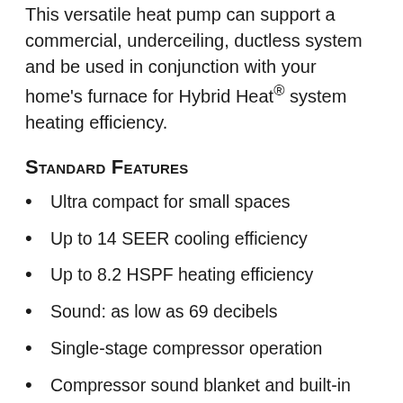This versatile heat pump can support a commercial, underceiling, ductless system and be used in conjunction with your home's furnace for Hybrid Heat® system heating efficiency.
Standard Features
Ultra compact for small spaces
Up to 14 SEER cooling efficiency
Up to 8.2 HSPF heating efficiency
Sound: as low as 69 decibels
Single-stage compressor operation
Compressor sound blanket and built-in